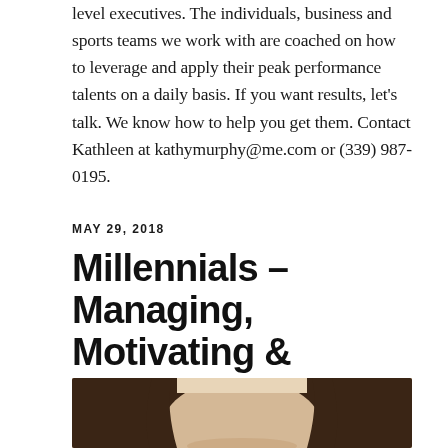level executives. The individuals, business and sports teams we work with are coached on how to leverage and apply their peak performance talents on a daily basis. If you want results, let's talk. We know how to help you get them. Contact Kathleen at kathymurphy@me.com or (339) 987-0195.
MAY 29, 2018
Millennials – Managing, Motivating & Retaining Them
[Figure (photo): Portrait photograph of a woman with long dark brown hair, partially cropped showing the upper portion of her face and hair against a light background.]